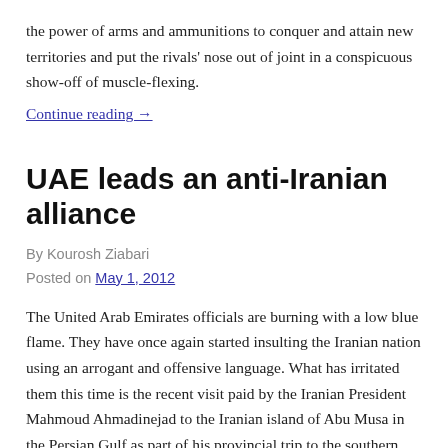the power of arms and ammunitions to conquer and attain new territories and put the rivals' nose out of joint in a conspicuous show-off of muscle-flexing.
Continue reading →
UAE leads an anti-Iranian alliance
By Kourosh Ziabari
Posted on May 1, 2012
The United Arab Emirates officials are burning with a low blue flame. They have once again started insulting the Iranian nation using an arrogant and offensive language. What has irritated them this time is the recent visit paid by the Iranian President Mahmoud Ahmadinejad to the Iranian island of Abu Musa in the Persian Gulf as part of his provincial trip to the southern province of Hormozgan on April